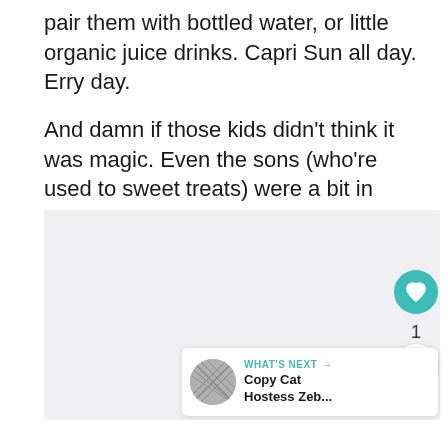pair them with bottled water, or little organic juice drinks. Capri Sun all day. Erry day.
And damn if those kids didn't think it was magic. Even the sons (who're used to sweet treats) were a bit in awe.
[Figure (other): Light gray placeholder image area with a like button (teal heart icon), like count of 1, and a share button on the right side. A 'What's Next' card is visible in the bottom right showing a thumbnail and text 'Copy Cat Hostess Zeb...']